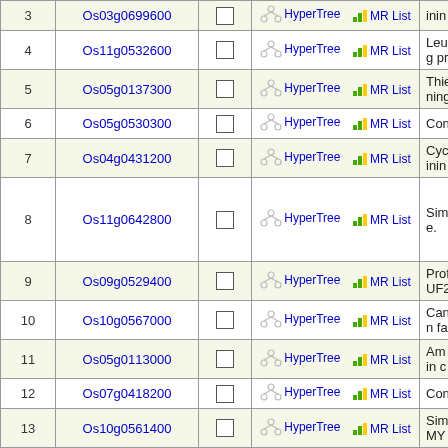| # | Gene ID |  | Links | Description |
| --- | --- | --- | --- | --- |
| 3 | Os03g0699600 |  | HyperTree  MR List | inin... |
| 4 | Os11g0532600 |  | HyperTree  MR List | Leu... g pr... |
| 5 | Os05g0137300 |  | HyperTree  MR List | Thie... ning... |
| 6 | Os05g0530300 |  | HyperTree  MR List | Con... |
| 7 | Os04g0431200 |  | HyperTree  MR List | Cyc... inin... |
| 8 | Os11g0642800 |  | HyperTree  MR List | Sim... e. |
| 9 | Os09g0529400 |  | HyperTree  MR List | Prof... UF2... |
| 10 | Os10g0567000 |  | HyperTree  MR List | Can... n fa... |
| 11 | Os05g0113000 |  | HyperTree  MR List | Am... in c... |
| 12 | Os07g0418200 |  | HyperTree  MR List | Con... |
| 13 | Os10g0561400 |  | HyperTree  MR List | Sim... MY... |
| 14 | Os10g0485300 |  | HyperTree  MR List | C... |